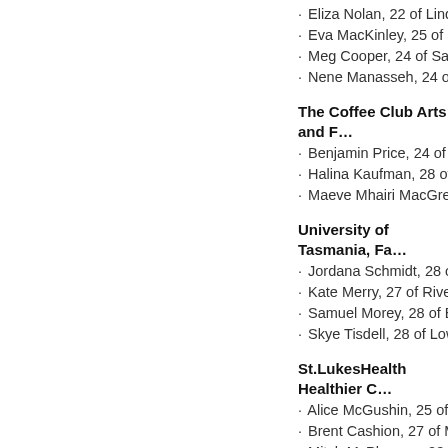• Eliza Nolan, 22 of Lindisfa…
• Eva MacKinley, 25 of Sandy…
• Meg Cooper, 24 of Sandy B…
• Nene Manasseh, 24 of Gle…
The Coffee Club Arts and F…
• Benjamin Price, 24 of Rose…
• Halina Kaufman, 28 of Len…
• Maeve Mhairi MacGregor,…
University of Tasmania, Fa…
• Jordana Schmidt, 28 of Ma…
• Kate Merry, 27 of Riverside…
• Samuel Morey, 28 of Berrie…
• Skye Tisdell, 28 of Lower S…
St.LukesHealth Healthier C…
• Alice McGushin, 25 of New…
• Brent Cashion, 27 of Mont…
• Mitch McPherson, 28 of T…
Motors Group Tasmania Sp…
• Jacob Birtwhistle, 20 of La…
• James Robinson, 18 of Pr…
• Kate Eckhardt, 18 of Wes…